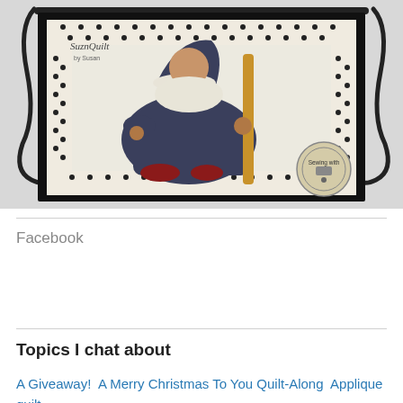[Figure (photo): A quilted wall hanging displayed on a decorative black wrought iron stand. The quilt features a folk art applique of a gnome or Santa-like figure sitting, wearing a dark navy outfit with red shoes, holding a yellow staff, against a cream background with black polka dots and a black border. A 'Sewing with...' circular logo badge is visible in the lower right corner. 'Suzn Quilts' branding appears in the upper left area of the image.]
Facebook
Topics I chat about
A Giveaway!  A Merry Christmas To You Quilt-Along  Applique quilt